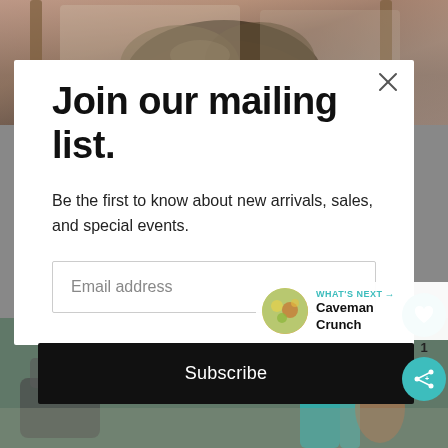[Figure (photo): Background photo of a person's head from above in a barbershop/salon setting, with blurred background]
Join our mailing list.
Be the first to know about new arrivals, sales, and special events.
Email address
Subscribe
WHAT'S NEXT → Caveman Crunch
[Figure (photo): Background photo of a barbershop/salon interior, blurred]